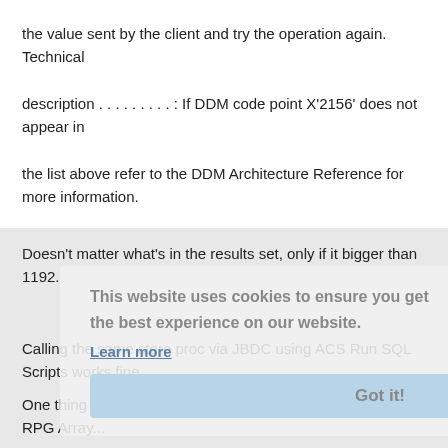the value sent by the client and try the operation again. Technical description . . . . . . . . . : If DDM code point X'2156' does not appear in the list above refer to the DDM Architecture Reference for more information.
Doesn't matter what's in the results set, only if it bigger than 1192.
Calling the same store proc via JBDC using ACS Run SQL Scripts works fine.
One thing that's a little different, the results set is built as an RPG Array...